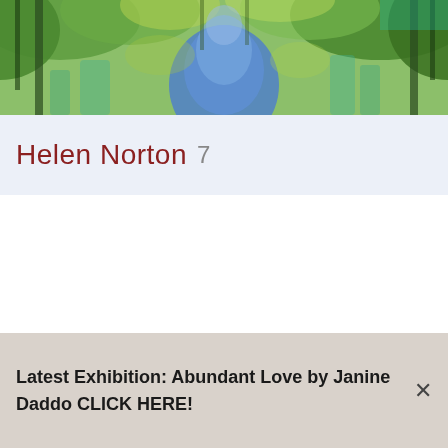[Figure (illustration): Abstract painting with blue, green, and teal tones suggesting a forest path or water reflection with trees]
Helen Norton 7
Latest Exhibition: Abundant Love by Janine Daddo CLICK HERE!